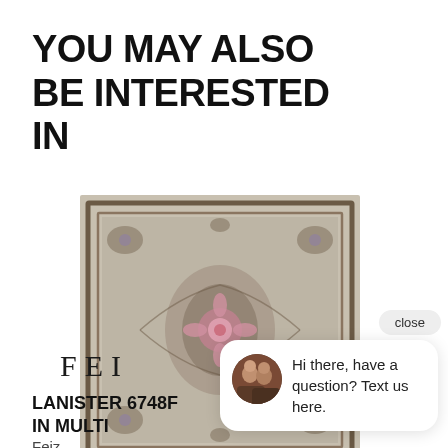YOU MAY ALSO BE INTERESTED IN
[Figure (photo): Persian/oriental style rug with floral medallion pattern in muted beige, grey, and dark tones]
FEI
LANISTER 6748F IN MULTI
Feiz
[Figure (screenshot): Chat widget popup showing close button, two women avatar photo, and message: Hi there, have a question? Text us here. With teal chat bubble icon.]